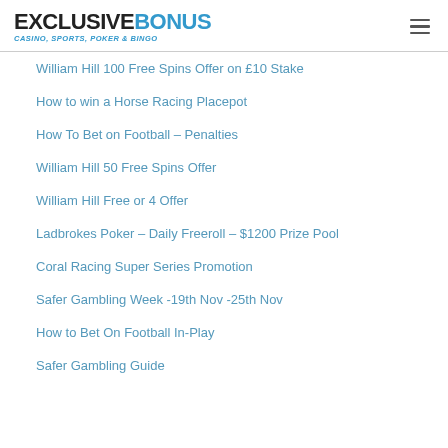EXCLUSIVEBONUS CASINO, SPORTS, POKER & BINGO
William Hill 100 Free Spins Offer on £10 Stake
How to win a Horse Racing Placepot
How To Bet on Football – Penalties
William Hill 50 Free Spins Offer
William Hill Free or 4 Offer
Ladbrokes Poker – Daily Freeroll – $1200 Prize Pool
Coral Racing Super Series Promotion
Safer Gambling Week -19th Nov -25th Nov
How to Bet On Football In-Play
Safer Gambling Guide